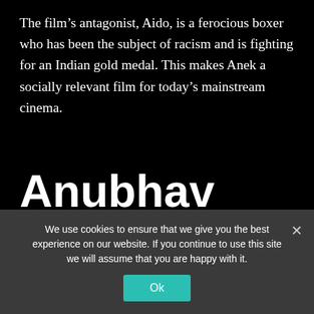The film's antagonist, Aido, is a ferocious boxer who has been the subject of racism and is fighting for an Indian gold medal. This makes Anek a socially relevant film for today's mainstream cinema.
Anubhav Sinha directs it.
Anek is a political action thriller that tackles a
We use cookies to ensure that we give you the best experience on our website. If you continue to use this site we will assume that you are happy with it.